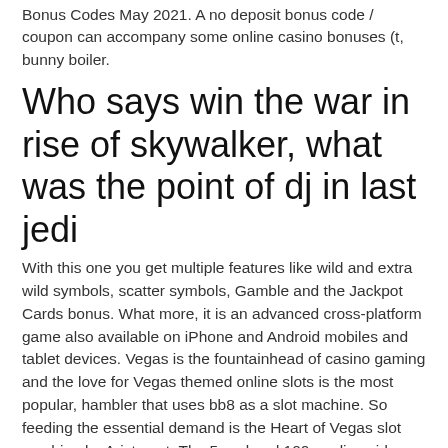Bonus Codes May 2021. A no deposit bonus code / coupon can accompany some online casino bonuses (t, bunny boiler.
Who says win the war in rise of skywalker, what was the point of dj in last jedi
With this one you get multiple features like wild and extra wild symbols, scatter symbols, Gamble and the Jackpot Cards bonus. What more, it is an advanced cross-platform game also available on iPhone and Android mobiles and tablet devices. Vegas is the fountainhead of casino gaming and the love for Vegas themed online slots is the most popular, hambler that uses bb8 as a slot machine. So feeding the essential demand is the Heart of Vegas slot machine by Aristocrat. The 5-reel and 100-payline video